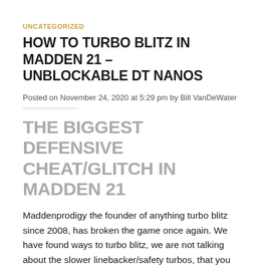UNCATEGORIZED
HOW TO TURBO BLITZ IN MADDEN 21 – UNBLOCKABLE DT NANOS
Posted on November 24, 2020 at 5:29 pm by Bill VanDeWater
THE BIGGEST DEFENSIVE CHEAT/GLITCH IN MADDEN 21
Maddenprodigy the founder of anything turbo blitz since 2008, has broken the game once again.  We have found ways to turbo blitz, we are not talking about the slower linebacker/safety turbos, that you see elsewhere, we are talking direct,  untouched, unblockable nano blitzes from either the defensive end or defensive tackle.  we have a way to make our opponents offensive line, not even recognize a blitzing defender.  THIS IS THE BEST PASS DEFENSE HANDS DOWN IN THE MADDEN COMMUNITY, IT IS UNSTOPPABLE.  Whether you want to